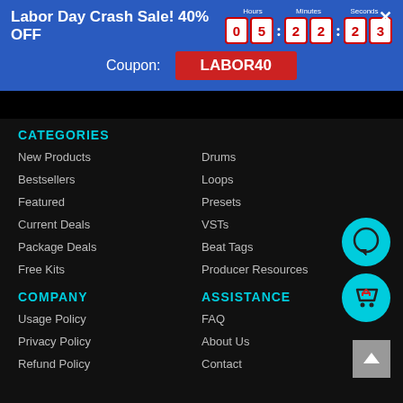Labor Day Crash Sale! 40% OFF 05:22:23
Coupon: LABOR40
CATEGORIES
New Products
Drums
Bestsellers
Loops
Featured
Presets
Current Deals
VSTs
Package Deals
Beat Tags
Free Kits
Producer Resources
COMPANY
ASSISTANCE
Usage Policy
FAQ
Privacy Policy
About Us
Refund Policy
Contact